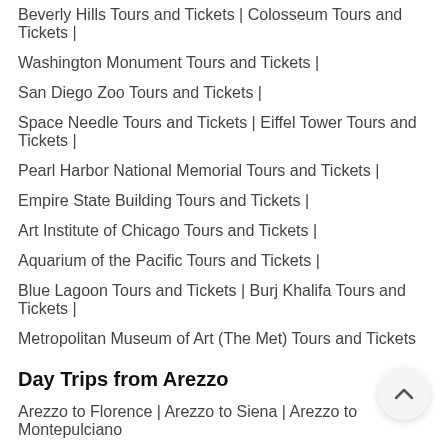Beverly Hills Tours and Tickets | Colosseum Tours and Tickets |
Washington Monument Tours and Tickets |
San Diego Zoo Tours and Tickets |
Space Needle Tours and Tickets | Eiffel Tower Tours and Tickets |
Pearl Harbor National Memorial Tours and Tickets |
Empire State Building Tours and Tickets |
Art Institute of Chicago Tours and Tickets |
Aquarium of the Pacific Tours and Tickets |
Blue Lagoon Tours and Tickets | Burj Khalifa Tours and Tickets |
Metropolitan Museum of Art (The Met) Tours and Tickets
Day Trips from Arezzo
Arezzo to Florence | Arezzo to Siena | Arezzo to Montepulciano
Arezzo to San Gimignano